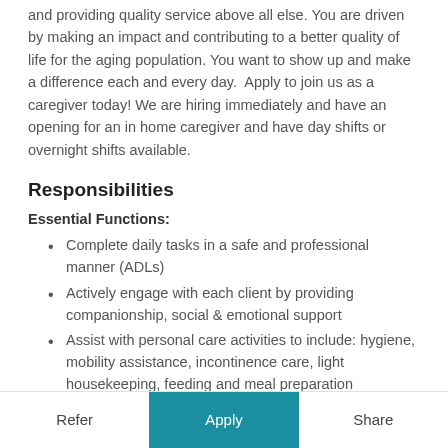and providing quality service above all else. You are driven by making an impact and contributing to a better quality of life for the aging population. You want to show up and make a difference each and every day.  Apply to join us as a caregiver today! We are hiring immediately and have an opening for an in home caregiver and have day shifts or overnight shifts available.
Responsibilities
Essential Functions:
Complete daily tasks in a safe and professional manner (ADLs)
Actively engage with each client by providing companionship, social & emotional support
Assist with personal care activities to include: hygiene, mobility assistance, incontinence care, light housekeeping, feeding and meal preparation
Keep order, safety and client enjoyment top of mind at all times
Provide transportation to and from appointments if
Refer   Apply   Share